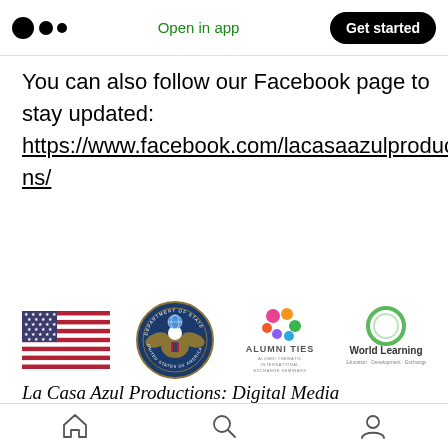Medium logo | Open in app | Get started
You can also follow our Facebook page to stay updated:
https://www.facebook.com/lacasaazulproductions/
[Figure (logo): Four logos side by side: US flag, US Department of State seal, Alumni Ties - Alumni Thematic International Exchange Seminars, World Learning - Education · Development · Exchange]
La Casa Azul Productions: Digital Media Apprenticeship Pilot Program is funded through an
Home | Search | Profile navigation icons